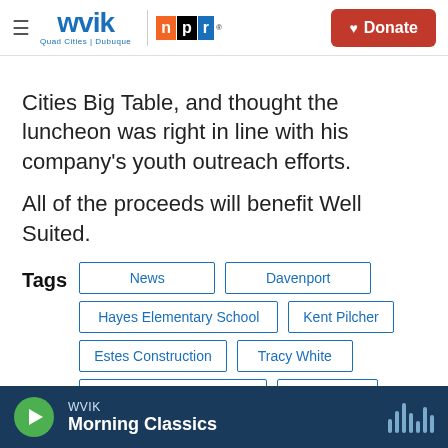WVIK | npr | Donate
Cities Big Table, and thought the luncheon was right in line with his company's youth outreach efforts.
All of the proceeds will benefit Well Suited.
Tags: News | Davenport | Hayes Elementary School | Kent Pilcher | Estes Construction | Tracy White | Embrace Race Luncheon | Well Suited
WVIK Morning Classics